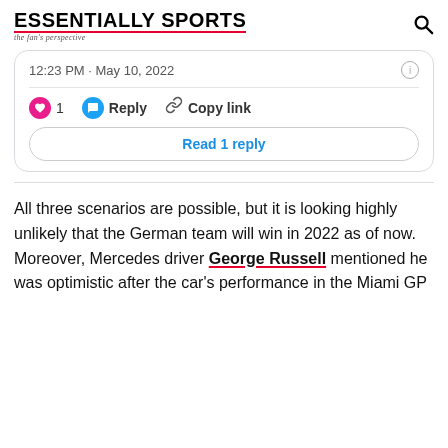ESSENTIALLY SPORTS — the fan's perspective
[Figure (screenshot): Twitter/social media tweet embed showing timestamp 12:23 PM · May 10, 2022 with like (1), Reply, and Copy link actions, and a 'Read 1 reply' button]
All three scenarios are possible, but it is looking highly unlikely that the German team will win in 2022 as of now. Moreover, Mercedes driver George Russell mentioned he was optimistic after the car's performance in the Miami GP